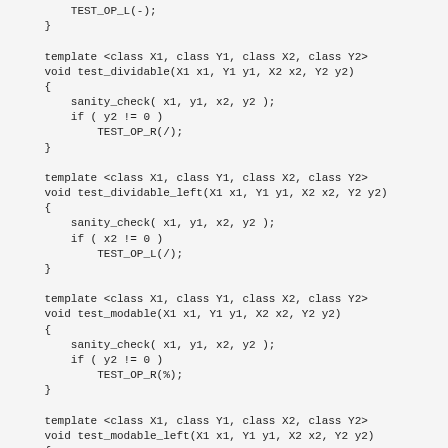TEST_OP_L(-);
    }

    template <class X1, class Y1, class X2, class Y2>
    void test_dividable(X1 x1, Y1 y1, X2 x2, Y2 y2)
    {
        sanity_check( x1, y1, x2, y2 );
        if ( y2 != 0 )
            TEST_OP_R(/);
    }

    template <class X1, class Y1, class X2, class Y2>
    void test_dividable_left(X1 x1, Y1 y1, X2 x2, Y2 y2)
    {
        sanity_check( x1, y1, x2, y2 );
        if ( x2 != 0 )
            TEST_OP_L(/);
    }

    template <class X1, class Y1, class X2, class Y2>
    void test_modable(X1 x1, Y1 y1, X2 x2, Y2 y2)
    {
        sanity_check( x1, y1, x2, y2 );
        if ( y2 != 0 )
            TEST_OP_R(%);
    }

    template <class X1, class Y1, class X2, class Y2>
    void test_modable_left(X1 x1, Y1 y1, X2 x2, Y2 y2)
    {
        sanity_check( x1, y1, x2, y2 );
        if ( x2 != 0 )
            TEST_OP_L(%);
    }

    template <class X1, class Y1, class X2, class Y2>
    void test_xorable_aux(X1 x1, Y1 y1, X2 x2, Y2 y2)
    {